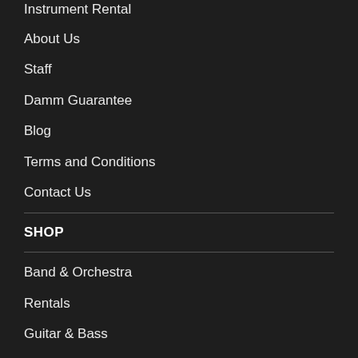Instrument Rental
About Us
Staff
Damm Guarantee
Blog
Terms and Conditions
Contact Us
SHOP
Band & Orchestra
Rentals
Guitar & Bass
Bluegrass
Ukulele
Drums & Percussion